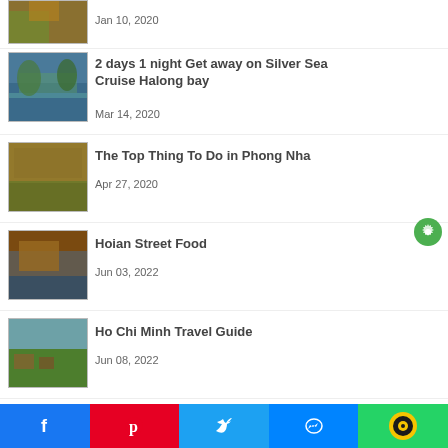[Figure (photo): Partial thumbnail of a person or landscape, cropped at top]
Jan 10, 2020
[Figure (photo): Scenic photo of Halong Bay with water and karst mountains]
2 days 1 night Get away on Silver Sea Cruise Halong bay
Mar 14, 2020
[Figure (photo): Photo of cave or rocky terrain in Phong Nha]
The Top Thing To Do in Phong Nha
Apr 27, 2020
[Figure (photo): Street food scene in Hoi An, showing a cart or stall]
Hoian Street Food
Jun 03, 2022
[Figure (photo): Aerial or elevated view of Ho Chi Minh City with greenery]
Ho Chi Minh Travel Guide
Jun 08, 2022
Social sharing bar: Facebook, Pinterest, Twitter, Messenger, WhatsApp